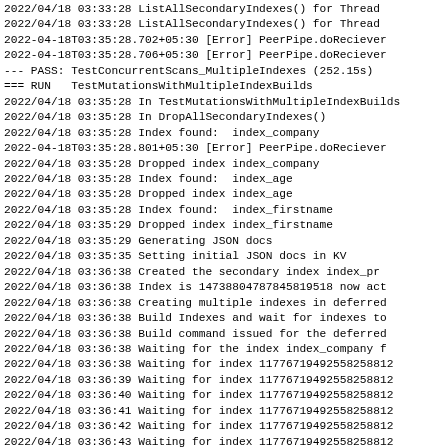2022/04/18 03:33:28 ListAllSecondaryIndexes() for Thread
2022/04/18 03:33:28 ListAllSecondaryIndexes() for Thread
2022-04-18T03:35:28.702+05:30 [Error] PeerPipe.doReciever
2022-04-18T03:35:28.706+05:30 [Error] PeerPipe.doReciever
--- PASS: TestConcurrentScans_MultipleIndexes (252.15s)
=== RUN   TestMutationsWithMultipleIndexBuilds
2022/04/18 03:35:28 In TestMutationsWithMultipleIndexBuilds
2022/04/18 03:35:28 In DropAllSecondaryIndexes()
2022/04/18 03:35:28 Index found:  index_company
2022-04-18T03:35:28.801+05:30 [Error] PeerPipe.doReciever
2022/04/18 03:35:28 Dropped index index_company
2022/04/18 03:35:28 Index found:  index_age
2022/04/18 03:35:28 Dropped index index_age
2022/04/18 03:35:28 Index found:  index_firstname
2022/04/18 03:35:29 Dropped index index_firstname
2022/04/18 03:35:29 Generating JSON docs
2022/04/18 03:35:35 Setting initial JSON docs in KV
2022/04/18 03:36:38 Created the secondary index index_pr
2022/04/18 03:36:38 Index is 14738804787845819518 now act
2022/04/18 03:36:38 Creating multiple indexes in deferred
2022/04/18 03:36:38 Build Indexes and wait for indexes to
2022/04/18 03:36:38 Build command issued for the deferred
2022/04/18 03:36:38 Waiting for the index index_company f
2022/04/18 03:36:38 Waiting for index 11776719492558258812
2022/04/18 03:36:39 Waiting for index 11776719492558258812
2022/04/18 03:36:40 Waiting for index 11776719492558258812
2022/04/18 03:36:41 Waiting for index 11776719492558258812
2022/04/18 03:36:42 Waiting for index 11776719492558258812
2022/04/18 03:36:43 Waiting for index 11776719492558258812
2022/04/18 03:36:44 Waiting for index 11776719492558258812
2022/04/18 03:36:45 Waiting for index 1177671949255825882